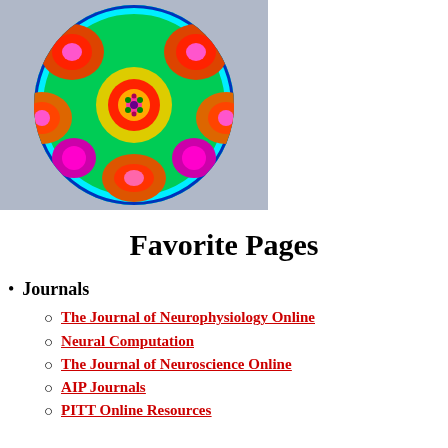[Figure (other): Colorful circular fractal/mathematical visualization with kaleidoscopic pattern showing red, orange, yellow, green, cyan, blue, and purple regions on a gray background.]
Favorite Pages
Journals
The Journal of Neurophysiology Online
Neural Computation
The Journal of Neuroscience Online
AIP Journals
PITT Online Resources